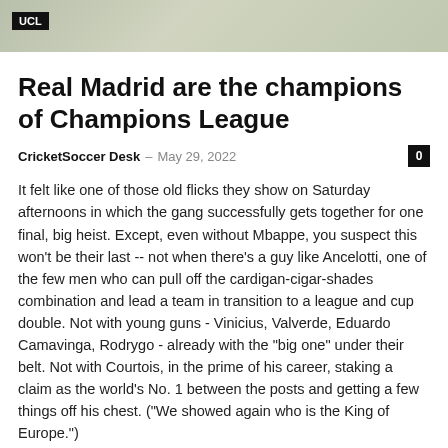[Figure (photo): Banner image of a football/soccer stadium scene with UCL badge overlay]
Real Madrid are the champions of Champions League
CricketSoccer Desk – May 29, 2022
It felt like one of those old flicks they show on Saturday afternoons in which the gang successfully gets together for one final, big heist. Except, even without Mbappe, you suspect this won't be their last -- not when there's a guy like Ancelotti, one of the few men who can pull off the cardigan-cigar-shades combination and lead a team in transition to a league and cup double. Not with young guns - Vinicius, Valverde, Eduardo Camavinga, Rodrygo - already with the "big one" under their belt. Not with Courtois, in the prime of his career, staking a claim as the world's No. 1 between the posts and getting a few things off his chest. ("We showed again who is the King of Europe.")
14 for Real Madrid
May 29, 2022